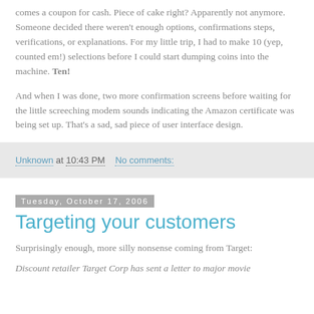comes a coupon for cash. Piece of cake right? Apparently not anymore. Someone decided there weren't enough options, confirmations steps, verifications, or explanations. For my little trip, I had to make 10 (yep, counted em!) selections before I could start dumping coins into the machine. Ten!
And when I was done, two more confirmation screens before waiting for the little screeching modem sounds indicating the Amazon certificate was being set up. That's a sad, sad piece of user interface design.
Unknown at 10:43 PM   No comments:
Tuesday, October 17, 2006
Targeting your customers
Surprisingly enough, more silly nonsense coming from Target:
Discount retailer Target Corp has sent a letter to major movie